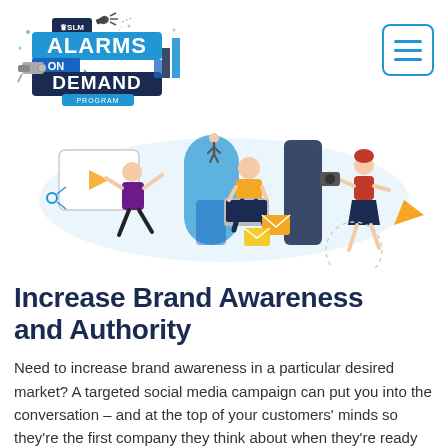[Figure (logo): SLM Alarms on Demand Program logo with security camera imagery and blue banner design]
[Figure (illustration): Marketing illustration showing three people engaged in digital marketing activities: a person gesturing at a video screen, a person sitting with a laptop, and a person walking with a camera, with blue tree and email envelope graphics in background]
Increase Brand Awareness and Authority
Need to increase brand awareness in a particular desired market?  A targeted social media campaign can put you into the conversation – and at the top of your customers' minds so they're the first company they think about when they're ready to purchase.